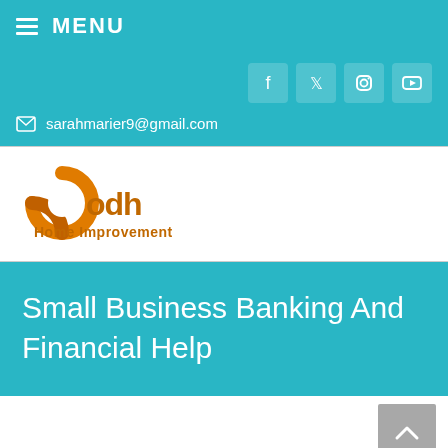≡ MENU
[Figure (other): Social media icons: Facebook, Twitter, Instagram, YouTube on teal background]
✉ sarahmarier9@gmail.com
[Figure (logo): ODH Home Improvement logo — circular orange icon with 'odh' text and 'Home Improvement' label]
Small Business Banking And Financial Help